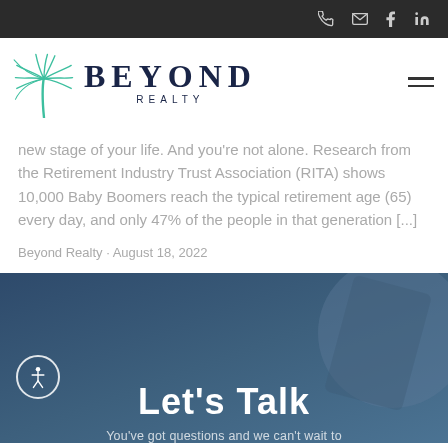Beyond Realty - navigation header with phone, email, facebook, linkedin icons
[Figure (logo): Beyond Realty logo with teal palm tree icon and serif BEYOND REALTY text]
new stage of your life. And you're not alone. Research from the Retirement Industry Trust Association (RITA) shows 10,000 Baby Boomers reach the typical retirement age (65) every day, and only 47% of the people in that generation [...]
Beyond Realty · August 18, 2022
Let's Talk
You've got questions and we can't wait to